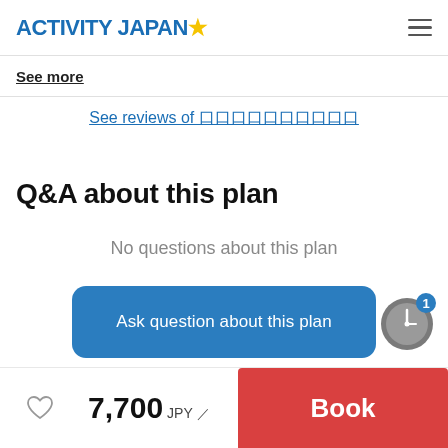ACTIVITY JAPAN
See more
See reviews of 口口口口口口口口口口
Q&A about this plan
No questions about this plan
Ask question about this plan
7,700 JPY / Book